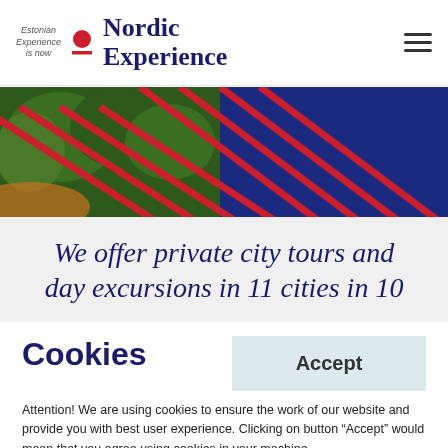[Figure (logo): Nordic Experience logo with Estonian Experience is now text, red circle and dash icon, and Nordic Experience text in dark blue serif font, plus hamburger menu icon on the right]
[Figure (photo): Aerial photo of green trees and buildings with red diagonal stripe overlay on dark blue background]
We offer private city tours and day excursions in 11 cities in 10
Cookies
Accept
Attention! We are using cookies to ensure the work of our website and provide you with best user experience. Clicking on button “Accept” would mean that you agree using cookies in your machine.